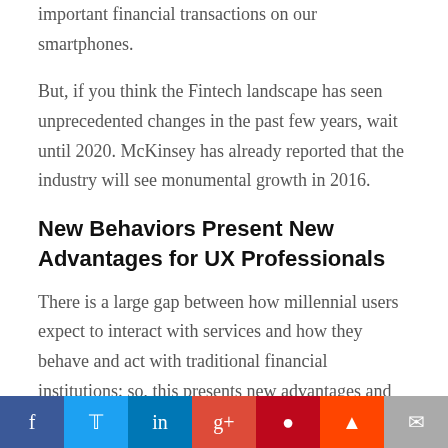important financial transactions on our smartphones.
But, if you think the Fintech landscape has seen unprecedented changes in the past few years, wait until 2020. McKinsey has already reported that the industry will see monumental growth in 2016.
New Behaviors Present New Advantages for UX Professionals
There is a large gap between how millennial users expect to interact with services and how they behave and act with traditional financial institutions; so, this presents new advantages and challenges for UX professionals.
1. UX professionals are entering a very rapidly growing, saturated market.